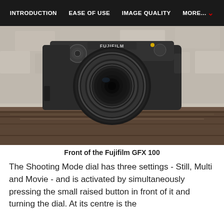INTRODUCTION   EASE OF USE   IMAGE QUALITY   MORE...
[Figure (photo): Front view of a Fujifilm GFX 100 medium format mirrorless camera with a large zoom lens attached, placed on a wooden surface against a light stone background.]
Front of the Fujifilm GFX 100
The Shooting Mode dial has three settings - Still, Multi and Movie - and is activated by simultaneously pressing the small raised button in front of it and turning the dial. At its centre is the